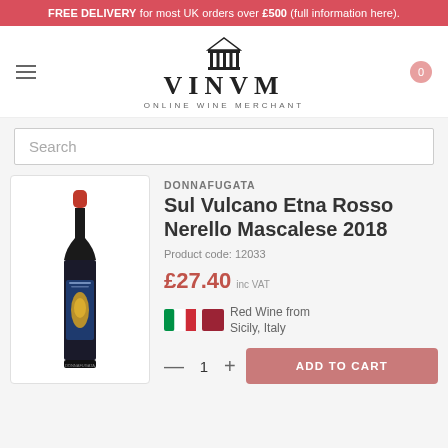FREE DELIVERY for most UK orders over £500 (full information here).
[Figure (logo): VINVM Online Wine Merchant logo with classical building/pillars icon above the text]
Search
DONNAFUGATA
Sul Vulcano Etna Rosso Nerello Mascalese 2018
Product code: 12033
£27.40 inc VAT
Red Wine from Sicily, Italy
[Figure (photo): Wine bottle with dark label showing Sul Vulcano Donnafugata, red capsule top]
— 1 + ADD TO CART